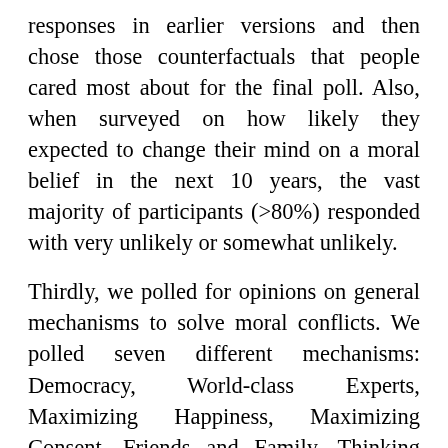responses in earlier versions and then chose those counterfactuals that people cared most about for the final poll. Also, when surveyed on how likely they expected to change their mind on a moral belief in the next 10 years, the vast majority of participants (>80%) responded with very unlikely or somewhat unlikely.
Thirdly, we polled for opinions on general mechanisms to solve moral conflicts. We polled seven different mechanisms: Democracy, World-class Experts, Maximizing Happiness, Maximizing Consent, Friends and Family, Thinking Long and Good Debates (see Part III for exact wording). We presented participants with four different scenarios: a) these mechanisms without specification of the setting, b) these mechanisms in a future society